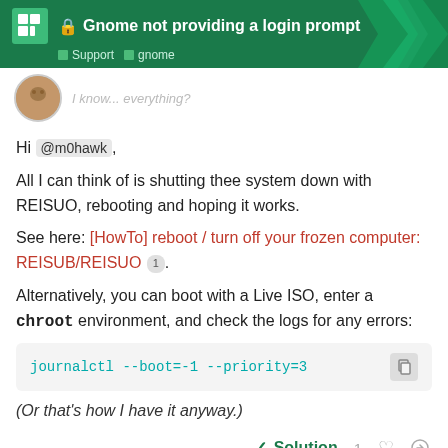Gnome not providing a login prompt — Support | gnome
I know... everything?
Hi @m0hawk,

All I can think of is shutting thee system down with REISUO, rebooting and hoping it works.

See here: [HowTo] reboot / turn off your frozen computer: REISUB/REISUO.

Alternatively, you can boot with a Live ISO, enter a chroot environment, and check the logs for any errors:
journalctl --boot=-1 --priority=3
(Or that's how I have it anyway.)
✓ Solution   1  ♡  🔗